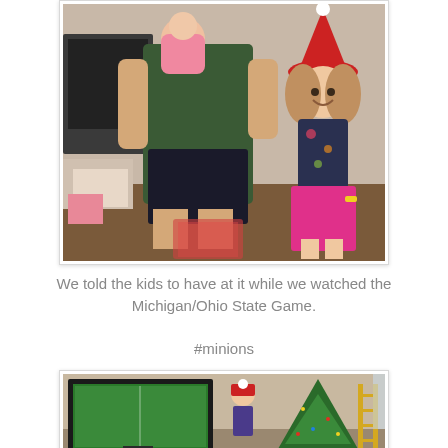[Figure (photo): A man in a dark green shirt holding a baby in pink, standing next to a smiling girl wearing a Santa hat and floral top with pink pants, indoors with Christmas decorations in the background.]
We told the kids to have at it while we watched the Michigan/Ohio State Game.

#minions
[Figure (photo): Indoor scene showing a television displaying a football game, a person wearing a Santa hat, and a Christmas tree on a ladder in the background near a window.]